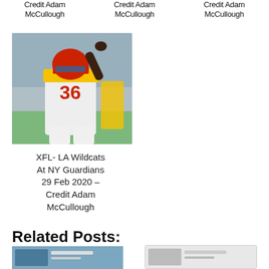Credit Adam McCullough
Credit Adam McCullough
Credit Adam McCullough
[Figure (photo): XFL football player wearing jersey number 36 in white and yellow uniform raising hand, crowd in background]
XFL- LA Wildcats At NY Guardians 29 Feb 2020 – Credit Adam McCullough
Related Posts:
[Figure (photo): Related post thumbnail image left]
[Figure (photo): Related post thumbnail image right]